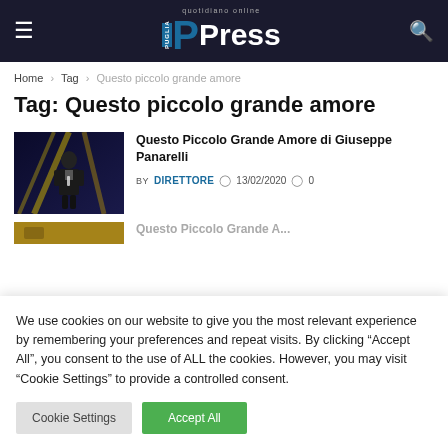PPress - quotidiano online
Home > Tag > Questo piccolo grande amore
Tag: Questo piccolo grande amore
[Figure (photo): Photo of a man in a suit performing on stage with yellow lighting in background]
Questo Piccolo Grande Amore di Giuseppe Panarelli
BY DIRETTORE  13/02/2020  0
[Figure (photo): Partially visible second article thumbnail]
We use cookies on our website to give you the most relevant experience by remembering your preferences and repeat visits. By clicking "Accept All", you consent to the use of ALL the cookies. However, you may visit "Cookie Settings" to provide a controlled consent.
Cookie Settings  Accept All